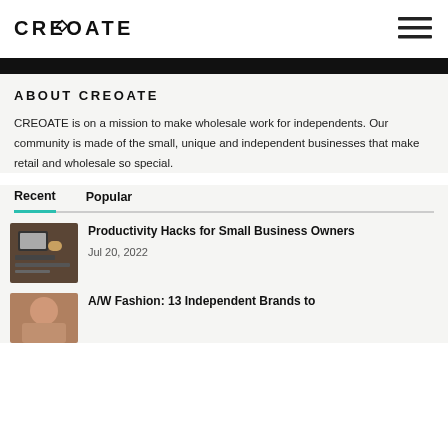[Figure (logo): CREOATE logo text in bold sans-serif with geometric O]
[Figure (illustration): Hamburger menu icon with three horizontal lines]
ABOUT CREOATE
CREOATE is on a mission to make wholesale work for independents. Our community is made of the small, unique and independent businesses that make retail and wholesale so special.
Recent	Popular
[Figure (photo): Thumbnail photo of desk with laptop and coffee cup]
Productivity Hacks for Small Business Owners
Jul 20, 2022
[Figure (photo): Thumbnail photo of person for A/W Fashion article]
A/W Fashion: 13 Independent Brands to